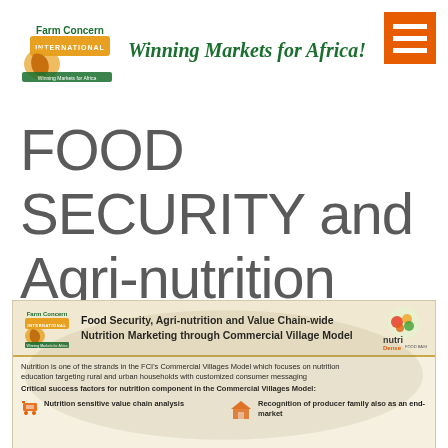[Figure (logo): Farm Concern International logo with tagline 'Winning Markets for Africa!' and orange hamburger menu icon]
FOOD SECURITY and Agri-nutrition
[Figure (infographic): Infographic panel about Food Security, Agri-nutrition and Value Chain-wide Nutrition Marketing through Commercial Village Model. Includes Farm Concern International and NutriDense Food Basket logos. Text: Nutrition is one of the strands in the FCI's Commercial Villages Model which focuses on nutrition education targeting rural and urban households with customized consumer messaging. Critical success factors for nutrition component in the Commercial Villages Model: Nutrition sensitive value chain analysis | Recognition of producer family also as an end-market]